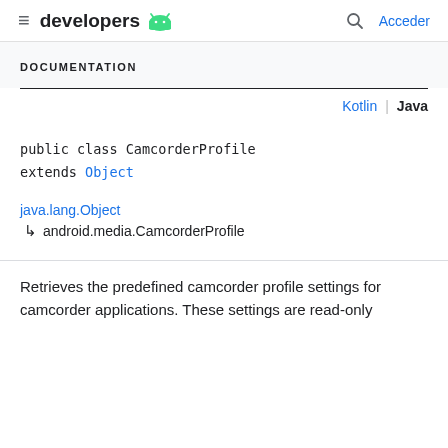≡ developers [android logo] | 🔍 Acceder
DOCUMENTATION
Kotlin | Java
public class CamcorderProfile extends Object
java.lang.Object
↳  android.media.CamcorderProfile
Retrieves the predefined camcorder profile settings for camcorder applications. These settings are read-only